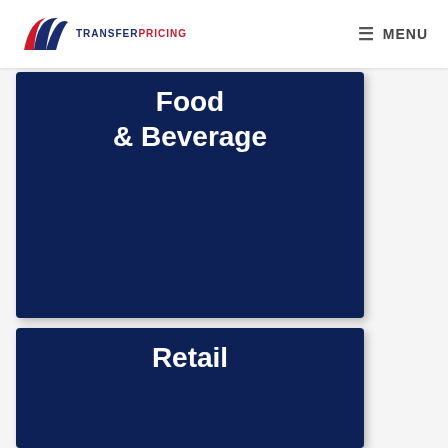TRANSFERPRICING — MENU
[Figure (other): Dark navy blue card with white bold text reading 'Food & Beverage']
[Figure (other): Dark navy blue card with white bold text reading 'Retail']